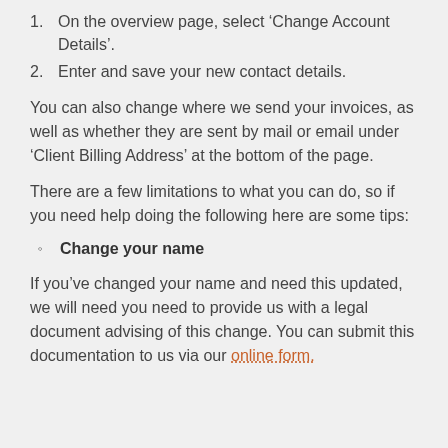1. On the overview page, select ‘Change Account Details’.
2. Enter and save your new contact details.
You can also change where we send your invoices, as well as whether they are sent by mail or email under ‘Client Billing Address’ at the bottom of the page.
There are a few limitations to what you can do, so if you need help doing the following here are some tips:
Change your name
If you’ve changed your name and need this updated, we will need you need to provide us with a legal document advising of this change. You can submit this documentation to us via our online form.